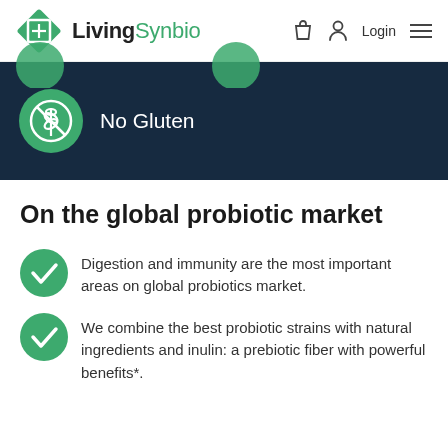LivingSynbio — Login
[Figure (infographic): No Gluten badge on dark navy banner with partial green circular badges at top]
On the global probiotic market
Digestion and immunity are the most important areas on global probiotics market.
We combine the best probiotic strains with natural ingredients and inulin: a prebiotic fiber with powerful benefits*.